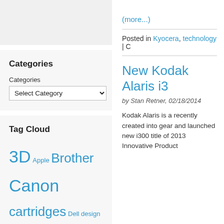(more...)
Categories
Categories
Select Category
Tag Cloud
3D Apple Brother Canon cartridges Dell design Epson gadget General HP industry news inkjet inks innovation Kodak Konica Minolta Kyocera laser LED Lexmark matrix mobile
(more...)
Posted in Kyocera, technology | C
New Kodak Alaris i3
by Stan Retner, 02/18/2014
Kodak Alaris is a recently created into gear and launched new i300 title of 2013 Innovative Product